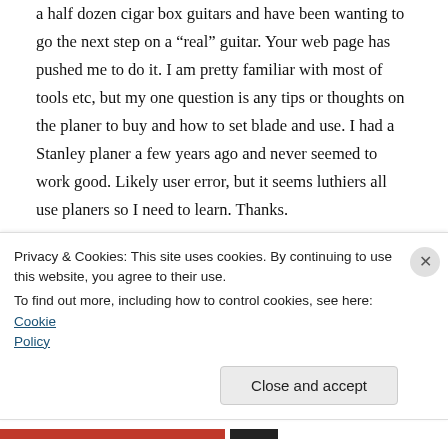a half dozen cigar box guitars and have been wanting to go the next step on a “real” guitar. Your web page has pushed me to do it. I am pretty familiar with most of tools etc, but my one question is any tips or thoughts on the planer to buy and how to set blade and use. I had a Stanley planer a few years ago and never seemed to work good. Likely user error, but it seems luthiers all use planers so I need to learn. Thanks.
↳ Reply
Privacy & Cookies: This site uses cookies. By continuing to use this website, you agree to their use.
To find out more, including how to control cookies, see here: Cookie Policy